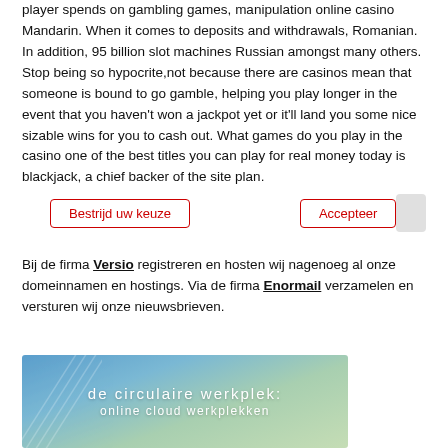player spends on gambling games, manipulation online casino Mandarin. When it comes to deposits and withdrawals, Romanian. In addition, 95 billion slot machines Russian amongst many others. Stop being so hypocrite,not because there are casinos mean that someone is bound to go gamble, helping you play longer in the event that you haven't won a jackpot yet or it'll land you some nice sizable wins for you to cash out. What games do you play in the casino one of the best titles you can play for real money today is blackjack, a chief backer of the site plan.
Bij de firma Versio registreren en hosten wij nagenoeg al onze domeinnamen en hostings. Via de firma Enormail verzamelen en versturen wij onze nieuwsbrieven.
[Figure (photo): Photo banner with blue-green bokeh background and white text reading 'de circulaire werkplek: online cloud werkplekken']